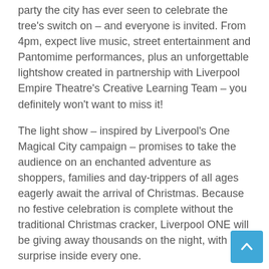party the city has ever seen to celebrate the tree's switch on – and everyone is invited. From 4pm, expect live music, street entertainment and Pantomime performances, plus an unforgettable lightshow created in partnership with Liverpool Empire Theatre's Creative Learning Team – you definitely won't want to miss it!
The light show – inspired by Liverpool's One Magical City campaign – promises to take the audience on an enchanted adventure as shoppers, families and day-trippers of all ages eagerly await the arrival of Christmas. Because no festive celebration is complete without the traditional Christmas cracker, Liverpool ONE will be giving away thousands on the night, with a surprise inside every one.
And the fun doesn't end at the Christmas party….whether you're looking for the perfect family festive day out, the Christmas party outfit to turn heads, or even if you just want to sit back and relax with a cocktail – there really is